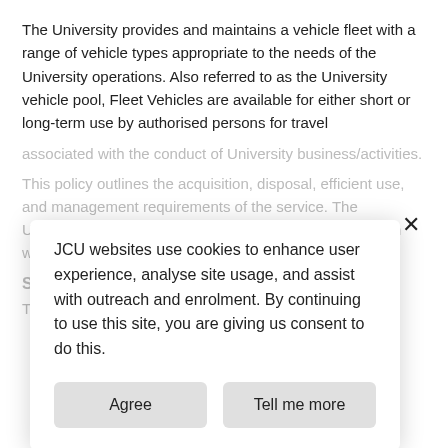The University provides and maintains a vehicle fleet with a range of vehicle types appropriate to the needs of the University operations. Also referred to as the University vehicle pool, Fleet Vehicles are available for either short or long-term use by authorised persons for travel
associated with the conduct of University business/activities.
This policy outlines the acquisition, disposal, efficient use, and management requirements of the service. The University and may also govern use ahead in conjunction with the short term and long term vehicle use procedures
JCU websites use cookies to enhance user experience, analyse site usage, and assist with outreach and enrolment. By continuing to use this site, you are giving us consent to do this.
Scope
This policy applies to: